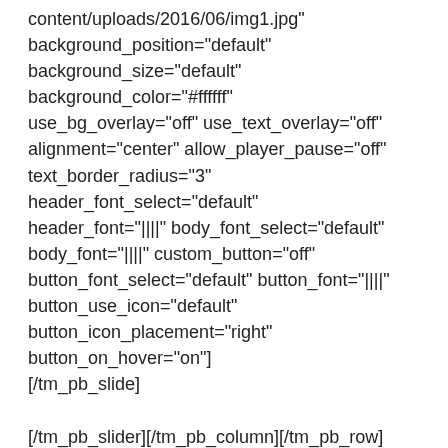content/uploads/2016/06/img1.jpg" background_position="default" background_size="default" background_color="#ffffff" use_bg_overlay="off" use_text_overlay="off" alignment="center" allow_player_pause="off" text_border_radius="3" header_font_select="default" header_font="||||" body_font_select="default" body_font="||||" custom_button="off" button_font_select="default" button_font="||||" button_use_icon="default" button_icon_placement="right" button_on_hover="on"] [/tm_pb_slide]
[/tm_pb_slider][/tm_pb_column][/tm_pb_row] [/tm_pb_section][tm_pb_section admin_label="Section" fullwidth="off" specialty="off" transparent_background="on" allow_player_pause="off" inner_shadow="off" parallax="off" parallax_method="off" custom_padding="100px||||"